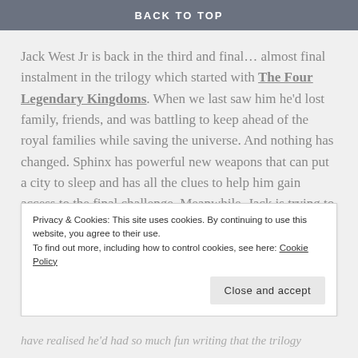BACK TO TOP
Jack West Jr is back in the third and final… almost final instalment in the trilogy which started with The Four Legendary Kingdoms. When we last saw him he'd lost family, friends, and was battling to keep ahead of the royal families while saving the universe. And nothing has changed. Sphinx has powerful new weapons that can put a city to sleep and has all the clues to help him gain access to the final challenge. Meanwhile, Jack is trying to save his family and friends and figure out what everyone else already knows.
Privacy & Cookies: This site uses cookies. By continuing to use this website, you agree to their use.
To find out more, including how to control cookies, see here: Cookie Policy
have realised he'd had so much fun writing that the trilogy